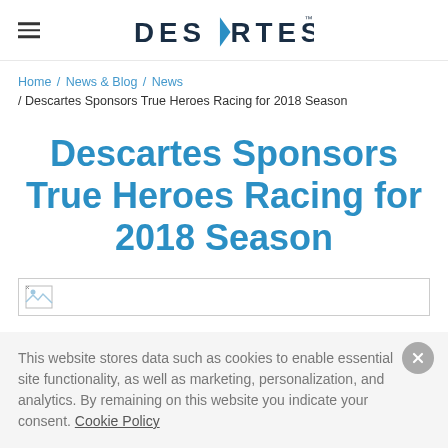DESCARTES
Home / News & Blog / News / Descartes Sponsors True Heroes Racing for 2018 Season
Descartes Sponsors True Heroes Racing for 2018 Season
[Figure (other): Image placeholder icon]
This website stores data such as cookies to enable essential site functionality, as well as marketing, personalization, and analytics. By remaining on this website you indicate your consent. Cookie Policy